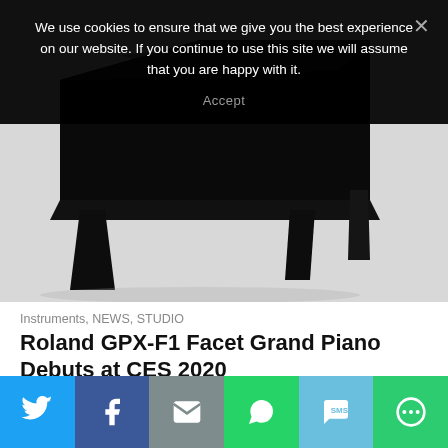We use cookies to ensure that we give you the best experience on our website. If you continue to use this site we will assume that you are happy with it.
Accept
[Figure (photo): Roland GPX-F1 Facet Grand Piano product photo showing sleek black angular piano body on white/grey background]
Instruments, NEWS, STUDIO
Roland GPX-F1 Facet Grand Piano Debuts at CES 2020
January 7, 2020 · 0 comments ·
Roland unveils the GPX-F1 Facet Grand Piano at CES 2020 in Las Vegas. Based on the winning entry from the
[Figure (infographic): Social share buttons bar: Twitter (blue), Facebook (dark blue), Email (grey), WhatsApp (green), SMS (light blue), More (green)]